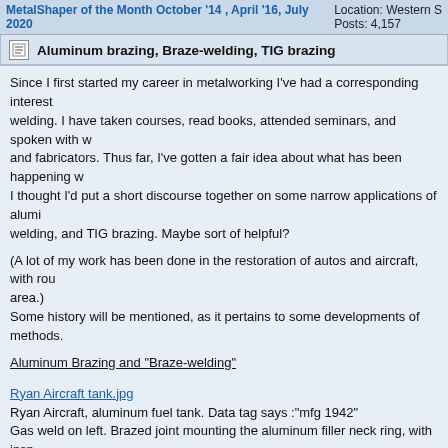MetalShaper of the Month October '14 , April '16, July 2020   Location: Western S   Posts: 4,157
Aluminum brazing, Braze-welding, TIG brazing
Since I first started my career in metalworking I've had a corresponding interest in welding. I have taken courses, read books, attended seminars, and spoken with welders and fabricators. Thus far, I've gotten a fair idea about what has been happening with I thought I'd put a short discourse together on some narrow applications of aluminum welding, and TIG brazing. Maybe sort of helpful?
(A lot of my work has been done in the restoration of autos and aircraft, with rou area.)
Some history will be mentioned, as it pertains to some developments of methods.
Aluminum Brazing and "Braze-welding"
Ryan Aircraft tank.jpg
Ryan Aircraft, aluminum fuel tank. Data tag says :"mfg 1942"
Gas weld on left. Brazed joint mounting the aluminum filler neck ring, with insp with O/H torch - typical of all US aircraft factories during WW2, by Presidential Dickerson told me that he received the order from the W.H., implemented the orc told anyone - until I asked him.)
Can also be done with TIG.
Note that the steel filler cap mount is threaded into the aluminum filler mounting
P1070273 copy.jpg
Steel filler cap housing threaded into aluminum housing during assembly. Al...